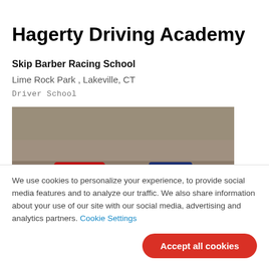Hagerty Driving Academy
Skip Barber Racing School
Lime Rock Park , Lakeville, CT
Driver School
[Figure (photo): Two race cars (red and blue) on a race track at Lime Rock Park, with tire barriers visible in the background.]
We use cookies to personalize your experience, to provide social media features and to analyze our traffic. We also share information about your use of our site with our social media, advertising and analytics partners. Cookie Settings
Accept all cookies